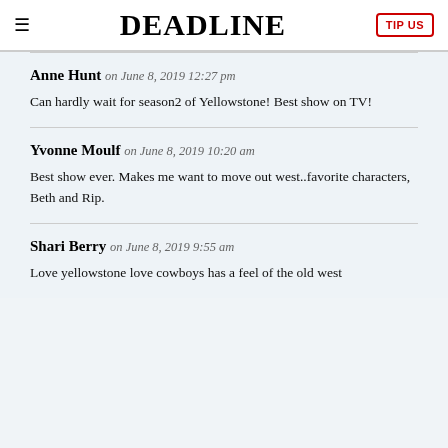DEADLINE | TIP US
Anne Hunt on June 8, 2019 12:27 pm
Can hardly wait for season2 of Yellowstone! Best show on TV!
Yvonne Moulf on June 8, 2019 10:20 am
Best show ever. Makes me want to move out west..favorite characters, Beth and Rip.
Shari Berry on June 8, 2019 9:55 am
Love yellowstone love cowboys has a feel of the old west